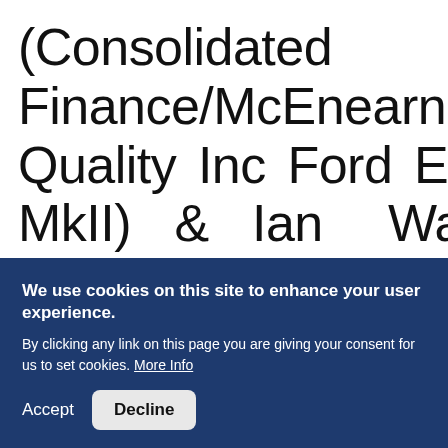(Consolidated Finance/McEnearney Quality Inc Ford Escort MkII) & Ian Warren (Subzero/Details Car Valet ...Peugeot 306GTi)...
We use cookies on this site to enhance your user experience.

By clicking any link on this page you are giving your consent for us to set cookies. More Info
Accept  Decline